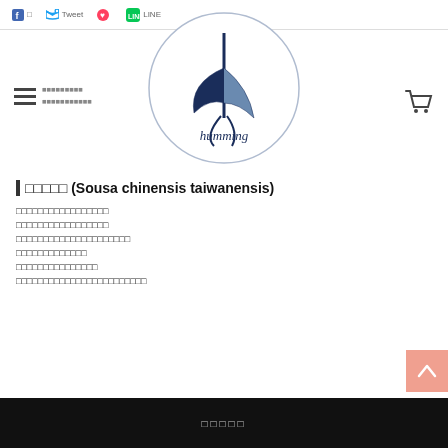f  □  Tweet  ♥  LINE
[Figure (logo): Circular logo with a hummingbird/marlin silhouette in dark navy blue and the text 'humming' in cursive script below]
□□□□□ (Sousa chinensis taiwanensis)
□□□□□□□□□□□□□□□□□
□□□□□□□□□□□□□□□□□
□□□□□□□□□□□□□□□□□□□□□
□□□□□□□□□□□□□
□□□□□□□□□□□□□□□
□□□□□□□□□□□□□□□□□□□□□□□□
□□□□□